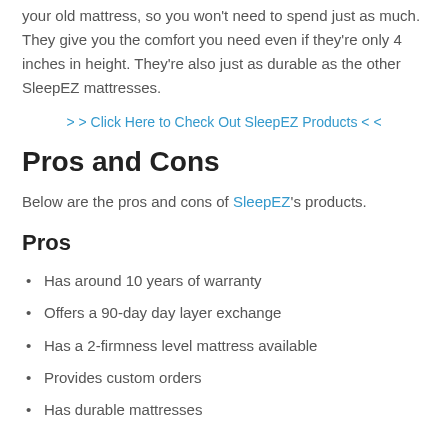your old mattress, so you won't need to spend just as much. They give you the comfort you need even if they're only 4 inches in height. They're also just as durable as the other SleepEZ mattresses.
> > Click Here to Check Out SleepEZ Products < <
Pros and Cons
Below are the pros and cons of SleepEZ's products.
Pros
Has around 10 years of warranty
Offers a 90-day day layer exchange
Has a 2-firmness level mattress available
Provides custom orders
Has durable mattresses